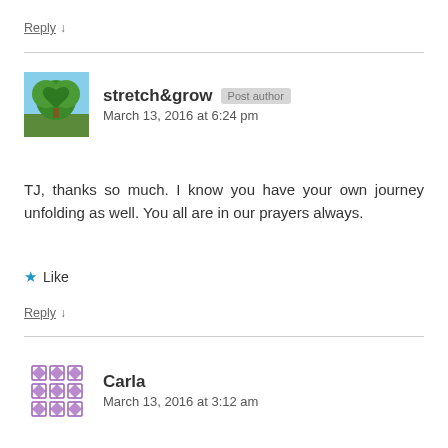Reply ↓
stretch&grow  Post author
March 13, 2016 at 6:24 pm
TJ, thanks so much. I know you have your own journey unfolding as well. You all are in our prayers always.
★ Like
Reply ↓
Carla
March 13, 2016 at 3:12 am